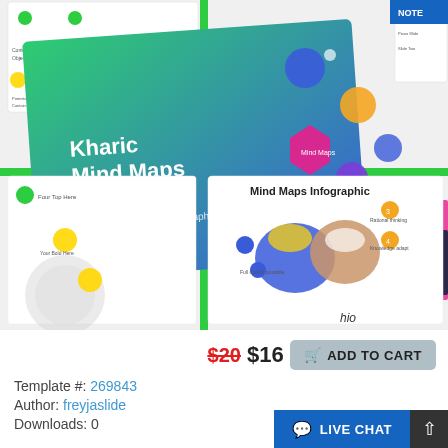[Figure (screenshot): Preview of Kharic Mind Maps Infographic presentation template showing colorful slides with mind map diagrams, brain infographics, and green grid borders]
$20 $16  ADD TO CART
Template #: 269843
Author: freyjaslide
Downloads: 0
LIVE CHAT